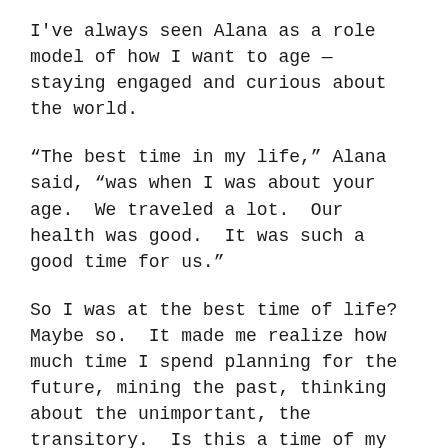I've always seen Alana as a role model of how I want to age — staying engaged and curious about the world.
“The best time in my life,” Alana said, “was when I was about your age.  We traveled a lot.  Our health was good.  It was such a good time for us.”
So I was at the best time of life?  Maybe so.  It made me realize how much time I spend planning for the future, mining the past, thinking about the unimportant, the transitory.  Is this a time of my life I’d remember most fondly, like the girl in “Our Town” who wanted to return to her earthly life on her 10th birthday so she could appreciate a day she’d been too busy and distracted to appreciate?